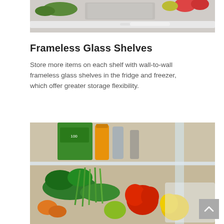[Figure (photo): Close-up photo of a refrigerator interior showing a crisper drawer with fruits and vegetables, and white frameless glass shelves.]
Frameless Glass Shelves
Store more items on each shelf with wall-to-wall frameless glass shelves in the fridge and freezer, which offer greater storage flexibility.
[Figure (photo): Close-up photo of a refrigerator interior showing frameless glass shelves with vegetables, fruits, sauces, and other groceries including a red bell pepper, green onions, broccoli, and other produce.]